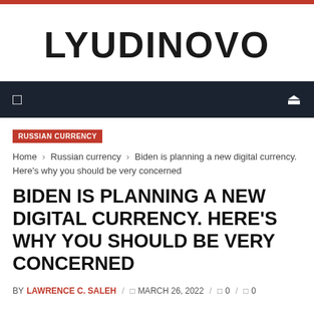LYUDINOVO
RUSSIAN CURRENCY
Home › Russian currency › Biden is planning a new digital currency. Here's why you should be very concerned
BIDEN IS PLANNING A NEW DIGITAL CURRENCY. HERE'S WHY YOU SHOULD BE VERY CONCERNED
BY LAWRENCE C. SALEH / MARCH 26, 2022 / 0 / 0